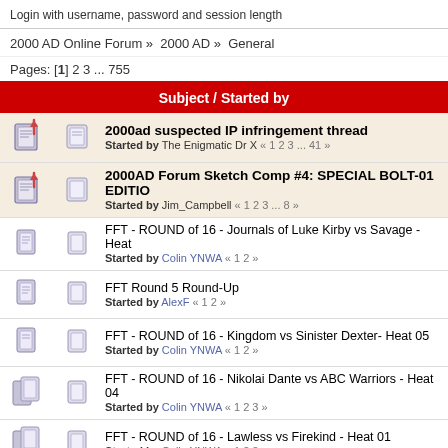Login with username, password and session length
2000 AD Online Forum » 2000 AD » General
Pages: [1] 2 3 ... 755
| Subject / Started by |
| --- |
| 2000ad suspected IP infringement thread
Started by The Enigmatic Dr X « 1 2 3 ... 41 » |
| 2000AD Forum Sketch Comp #4: SPECIAL BOLT-01 EDITION
Started by Jim_Campbell « 1 2 3 ... 8 » |
| FFT - ROUND of 16 - Journals of Luke Kirby vs Savage - Heat
Started by Colin YNWA « 1 2 » |
| FFT Round 5 Round-Up
Started by AlexF « 1 2 » |
| FFT - ROUND of 16 - Kingdom vs Sinister Dexter- Heat 05
Started by Colin YNWA « 1 2 » |
| FFT - ROUND of 16 - Nikolai Dante vs ABC Warriors - Heat 04
Started by Colin YNWA « 1 2 3 » |
| FFT - ROUND of 16 - Lawless vs Firekind - Heat 01
Started by Colin YNWA « 1 2 3 » |
| FFT - ROUND of 16 - Halo Jones vs Fiends of the Eastern Fro
Started by Colin YNWA « 1 2 » |
| Forthcoming Thrills - 2023 |